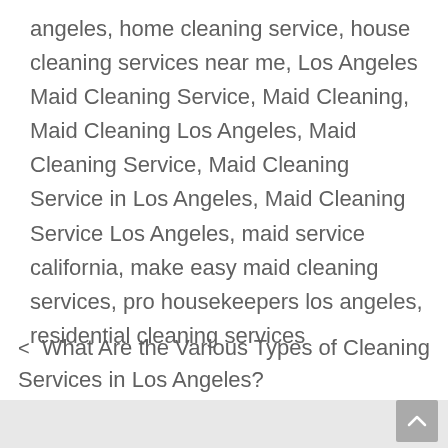angeles, home cleaning service, house cleaning services near me, Los Angeles Maid Cleaning Service, Maid Cleaning, Maid Cleaning Los Angeles, Maid Cleaning Service, Maid Cleaning Service in Los Angeles, Maid Cleaning Service Los Angeles, maid service california, make easy maid cleaning services, pro housekeepers los angeles, residential cleaning services
< What Are the Various Types of Cleaning Services in Los Angeles?
> Top 10 Reasons to Schedule House Cleaning Services in Los Angeles.